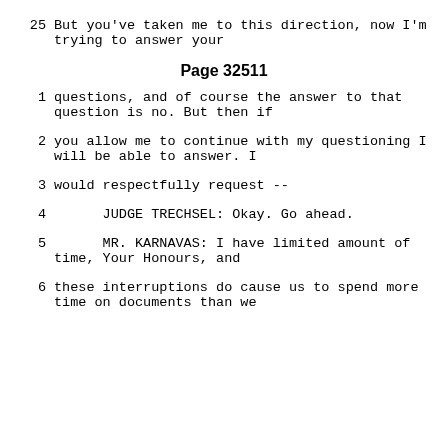25    But you've taken me to this direction, now I'm trying to answer your
Page 32511
1    questions, and of course the answer to that question is no.  But then if
2    you allow me to continue with my questioning I will be able to answer.  I
3    would respectfully request --
4         JUDGE TRECHSEL:  Okay.  Go ahead.
5         MR. KARNAVAS:  I have limited amount of time, Your Honours, and
6    these interruptions do cause us to spend more time on documents than we